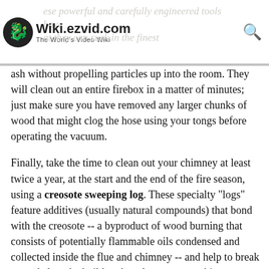Wiki.ezvid.com The World's Video Wiki [watermark: ese powerful and carefully engineered tools have / at they can suck in the finest]
ash without propelling particles up into the room. They will clean out an entire firebox in a matter of minutes; just make sure you have removed any larger chunks of wood that might clog the hose using your tongs before operating the vacuum.
Finally, take the time to clean out your chimney at least twice a year, at the start and the end of the fire season, using a creosote sweeping log. These specialty "logs" feature additives (usually natural compounds) that bond with the creosote -- a byproduct of wood burning that consists of potentially flammable oils condensed and collected inside the flue and chimney -- and help to break up and clear the buildup that plagues many chimneys,